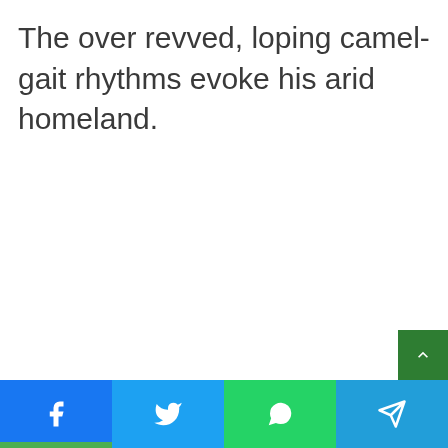The over revved, loping camel-gait rhythms evoke his arid homeland.
[Figure (other): Social media share bar with Facebook, Twitter, WhatsApp, and Telegram buttons at the bottom of the page, plus a green scroll-to-top button]